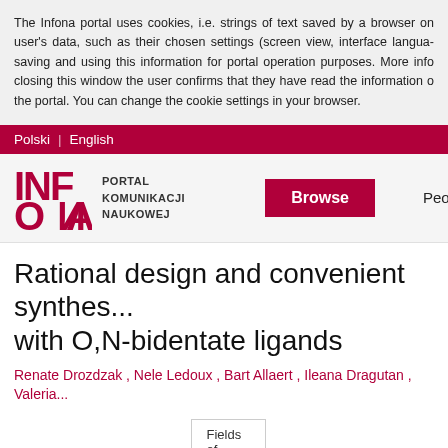The Infona portal uses cookies, i.e. strings of text saved by a browser on user's data, such as their chosen settings (screen view, interface language saving and using this information for portal operation purposes. More info closing this window the user confirms that they have read the information o the portal. You can change the cookie settings in your browser.
Polski | English
[Figure (logo): Infona logo with text PORTAL KOMUNIKACJI NAUKOWEJ, Browse button in red, People navigation link]
Rational design and convenient synthesis with O,N-bidentate ligands
Renate Drozdzak , Nele Ledoux , Bart Allaert , Ileana Dragutan , Valeria...
Details | Contributors | Fields of science | Bibliography | Quotations | S...